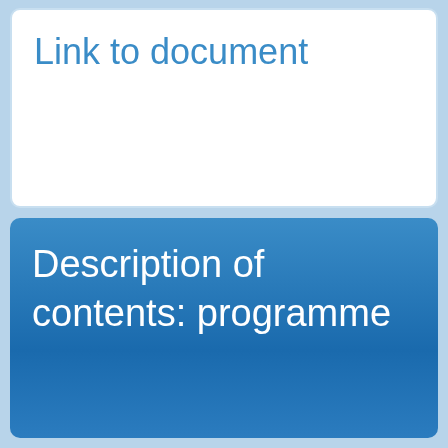Link to document
Description of contents: programme